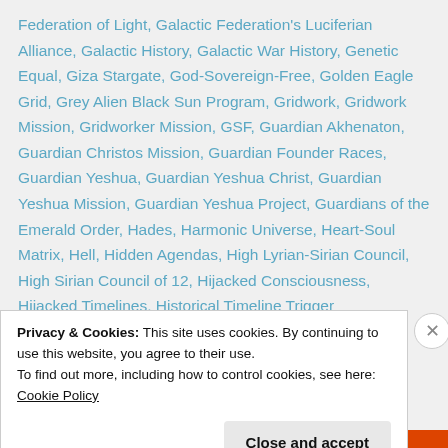Federation of Light, Galactic Federation's Luciferian Alliance, Galactic History, Galactic War History, Genetic Equal, Giza Stargate, God-Sovereign-Free, Golden Eagle Grid, Grey Alien Black Sun Program, Gridwork, Gridwork Mission, Gridworker Mission, GSF, Guardian Akhenaton, Guardian Christos Mission, Guardian Founder Races, Guardian Yeshua, Guardian Yeshua Christ, Guardian Yeshua Mission, Guardian Yeshua Project, Guardians of the Emerald Order, Hades, Harmonic Universe, Heart-Soul Matrix, Hell, Hidden Agendas, High Lyrian-Sirian Council, High Sirian Council of 12, Hijacked Consciousness, Hijacked Timelines, Historical Timeline Trigger
Privacy & Cookies: This site uses cookies. By continuing to use this website, you agree to their use.
To find out more, including how to control cookies, see here: Cookie Policy